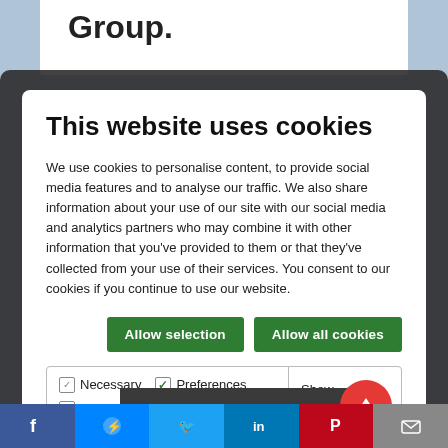Group.
This website uses cookies
We use cookies to personalise content, to provide social media features and to analyse our traffic. We also share information about your use of our site with our social media and analytics partners who may combine it with other information that you've provided to them or that they've collected from your use of their services. You consent to our cookies if you continue to use our website.
[Figure (screenshot): Cookie consent modal with Allow selection and Allow all cookies buttons, and checkboxes for Necessary, Preferences, Statistics, Marketing with Show details dropdown]
[Figure (photo): ABN AMRO branded athletic event photo showing athlete number 68 Richard]
[Figure (other): Social media sharing bar with Facebook, Messenger, Twitter, LinkedIn, Pinterest, and Email buttons]